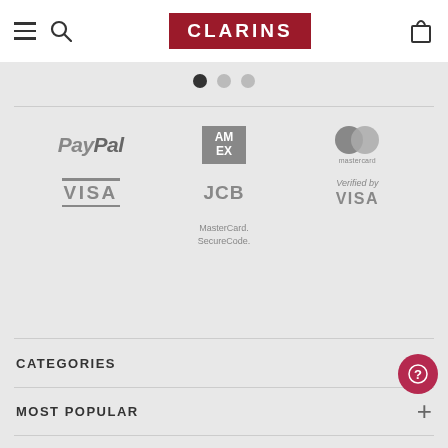CLARINS
[Figure (other): Carousel pagination dots: one filled dark (active), two lighter (inactive)]
[Figure (other): Payment method logos: PayPal, American Express, Mastercard, VISA, JCB, Verified by VISA, MasterCard SecureCode]
CATEGORIES
MOST POPULAR
NEW PRODUCTS